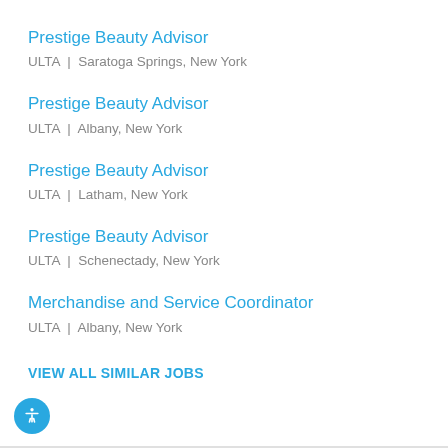Prestige Beauty Advisor
ULTA | Saratoga Springs, New York
Prestige Beauty Advisor
ULTA | Albany, New York
Prestige Beauty Advisor
ULTA | Latham, New York
Prestige Beauty Advisor
ULTA | Schenectady, New York
Merchandise and Service Coordinator
ULTA | Albany, New York
VIEW ALL SIMILAR JOBS